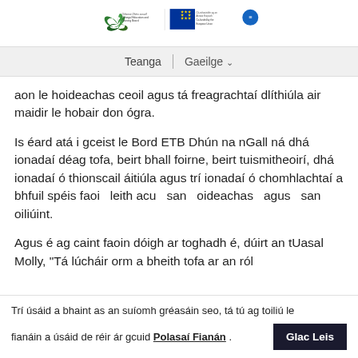Donegal Education and Training Board / Co-funded by the European Union logos
Teanga | Gaeilge
aon le hoideachas ceoil agus tá freagrachtaí dlíthiúla air maidir le hobair don ógra.
Is éard atá i gceist le Bord ETB Dhún na nGall ná dhá ionadaí déag tofa, beirt bhall foirne, beirt tuismitheoirí, dhá ionadaí ó thionscail áitiúla agus trí ionadaí ó chomhlachtaí a bhfuil spéis faoi leith acu san oideachas agus san oiliúint.
Agus é ag caint faoin dóigh ar toghadh é, dúirt an tUasal Molly, "Tá lúcháir orm a bheith tofa ar an ról
Trí úsáid a bhaint as an suíomh gréasáin seo, tá tú ag toiliú le fianáin a úsáid de réir ár gcuid Polasaí Fianán . Glac Leis